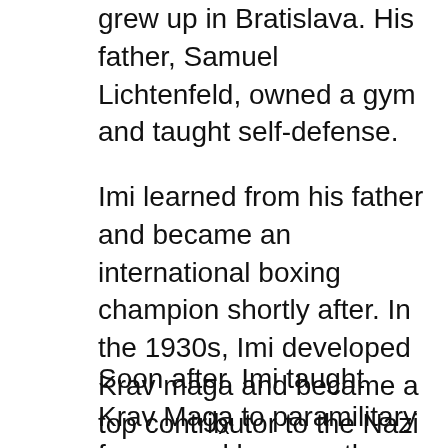grew up in Bratislava. His father, Samuel Lichtenfeld, owned a gym and taught self-defense.
Imi learned from his father and became an international boxing champion shortly after. In the 1930s, Imi developed Krav maga and became a top contributor to the Nazi resistance.
Soon after, Imi taught Krav Maga to paramilitary forces and became the lead
x